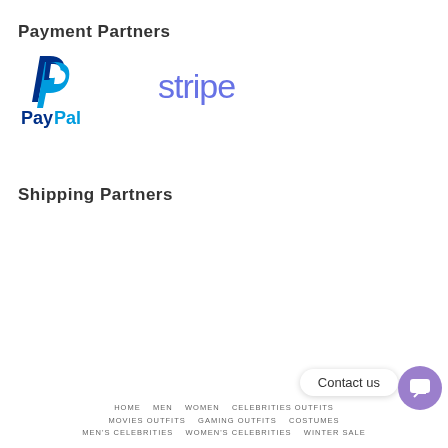Payment Partners
[Figure (logo): PayPal logo — blue P icon above 'PayPal' text in blue]
[Figure (logo): Stripe logo — purple lowercase 'stripe' wordmark]
Shipping Partners
HOME   MEN   WOMEN   CELEBRITIES OUTFITS
MOVIES OUTFITS   GAMING OUTFITS   COSTUMES
MEN'S CELEBRITIES   WOMEN'S CELEBRITIES   WINTER SALE